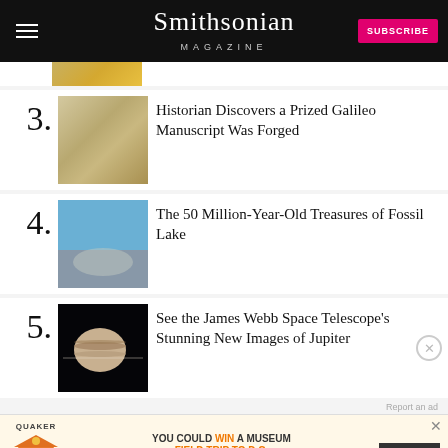Smithsonian Magazine — SUBSCRIBE
[Figure (photo): Partial view of item 2 thumbnail — food/plate visible at top]
3. Historian Discovers a Prized Galileo Manuscript Was Forged
4. The 50 Million-Year-Old Treasures of Fossil Lake
5. See the James Webb Space Telescope's Stunning New Images of Jupiter
Report an ad
[Figure (other): Advertisement banner: Quaker — You Could Win a Museum Field Trip to D.C. Learn More]